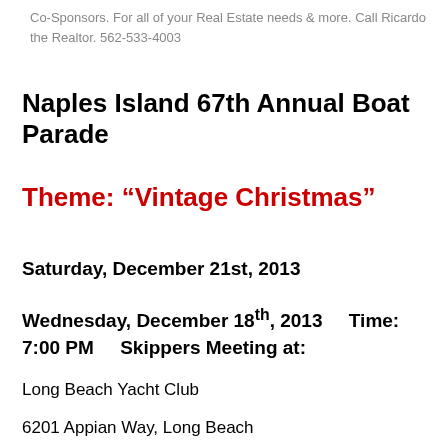Co-Sponsors. For all of your Real Estate needs & more. Call Ricardo the Realtor. 562-533-4003
Naples Island 67th Annual Boat Parade
Theme: “Vintage Christmas”
Saturday, December 21st, 2013
Wednesday, December 18th, 2013     Time:  7:00 PM      Skippers Meeting at:
Long Beach Yacht Club
6201 Appian Way, Long Beach